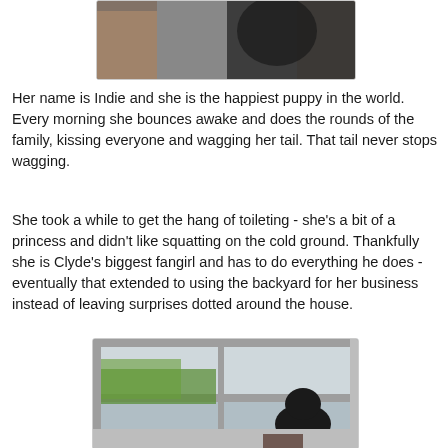[Figure (photo): Photo of a person holding a black puppy, partial view cropped at top of page]
Her name is Indie and she is the happiest puppy in the world. Every morning she bounces awake and does the rounds of the family, kissing everyone and wagging her tail. That tail never stops wagging.
She took a while to get the hang of toileting - she's a bit of a princess and didn't like squatting on the cold ground. Thankfully she is Clyde's biggest fangirl and has to do everything he does - eventually that extended to using the backyard for her business instead of leaving surprises dotted around the house.
[Figure (photo): Photo of a small black dog looking out a window with greenery visible outside]